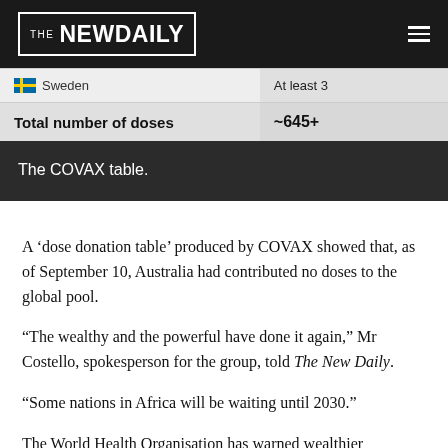THE NEW DAILY
| Country | Doses |
| --- | --- |
| Sweden | At least 3 |
| Total number of doses | ~645+ |
The COVAX table.
A ‘dose donation table’ produced by COVAX showed that, as of September 10, Australia had contributed no doses to the global pool.
“The wealthy and the powerful have done it again,” Mr Costello, spokesperson for the group, told The New Daily.
“Some nations in Africa will be waiting until 2030.”
The World Health Organisation has warned wealthier